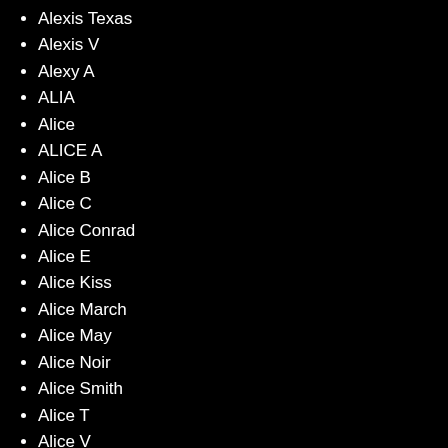Alexis Texas
Alexis V
Alexy A
ALIA
Alice
ALICE A
Alice B
Alice C
Alice Conrad
Alice E
Alice Kiss
Alice March
Alice May
Alice Noir
Alice Smith
Alice T
Alice V
Alice Wonder
Alicia
Alicia A
Alicia B
Alicia Love